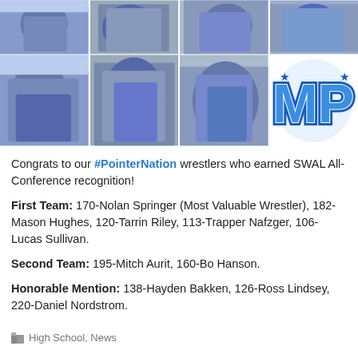[Figure (photo): Top row of four wrestling action photos showing wrestlers in blue uniforms competing]
[Figure (photo): Bottom row of three wrestling action photos and one MP (Pointer Nation) school logo in blue and white]
Congrats to our #PointerNation wrestlers who earned SWAL All-Conference recognition!
First Team: 170-Nolan Springer (Most Valuable Wrestler), 182-Mason Hughes, 120-Tarrin Riley, 113-Trapper Nafzger, 106-Lucas Sullivan.
Second Team: 195-Mitch Aurit, 160-Bo Hanson.
Honorable Mention: 138-Hayden Bakken, 126-Ross Lindsey, 220-Daniel Nordstrom.
High School, News